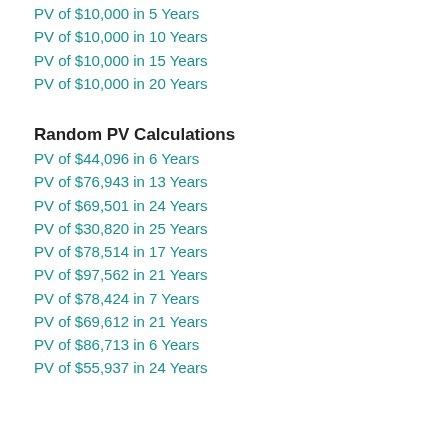PV of $10,000 in 5 Years
PV of $10,000 in 10 Years
PV of $10,000 in 15 Years
PV of $10,000 in 20 Years
Random PV Calculations
PV of $44,096 in 6 Years
PV of $76,943 in 13 Years
PV of $69,501 in 24 Years
PV of $30,820 in 25 Years
PV of $78,514 in 17 Years
PV of $97,562 in 21 Years
PV of $78,424 in 7 Years
PV of $69,612 in 21 Years
PV of $86,713 in 6 Years
PV of $55,937 in 24 Years